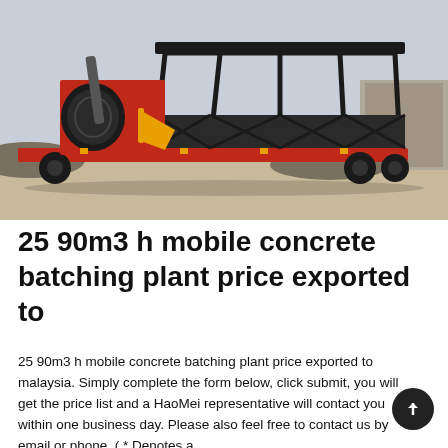[Figure (photo): A mobile concrete batching plant on a red trailer with a large black aggregate hopper/storage bin structure on the right and a red-framed drum mixer on the left, parked on a concrete yard with a brick wall and aggregate piles in the background.]
25 90m3 h mobile concrete batching plant price exported to
25 90m3 h mobile concrete batching plant price exported to malaysia. Simply complete the form below, click submit, you will get the price list and a HaoMei representative will contact you within one business day. Please also feel free to contact us by email or phone. ( * Denotes a